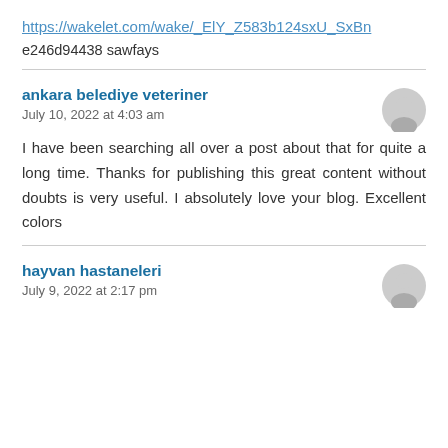https://wakelet.com/wake/_ElY_Z583b124sxU_SxBn
e246d94438 sawfays
ankara belediye veteriner
July 10, 2022 at 4:03 am
I have been searching all over a post about that for quite a long time. Thanks for publishing this great content without doubts is very useful. I absolutely love your blog. Excellent colors
hayvan hastaneleri
July 9, 2022 at 2:17 pm